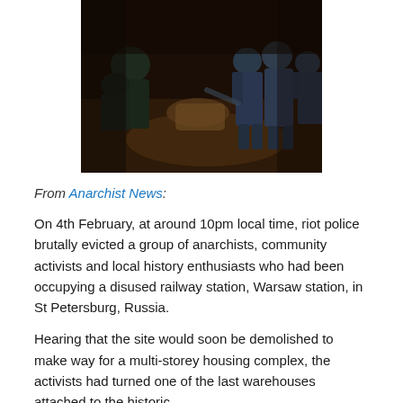[Figure (photo): Dark nighttime photograph showing riot police evicting people at what appears to be an indoor location. Officers in dark uniforms and helmets are visible, with some people on the ground.]
From Anarchist News:
On 4th February, at around 10pm local time, riot police brutally evicted a group of anarchists, community activists and local history enthusiasts who had been occupying a disused railway station, Warsaw station, in St Petersburg, Russia.
Hearing that the site would soon be demolished to make way for a multi-storey housing complex, the activists had turned one of the last warehouses attached to the historic